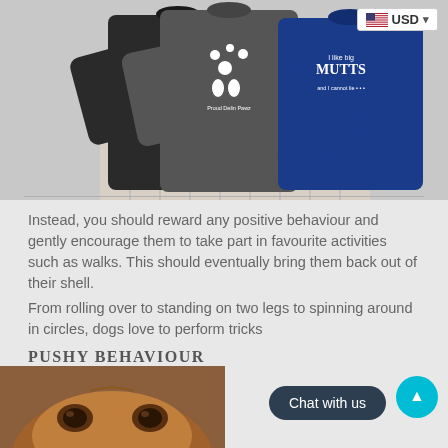[Figure (photo): Three dog-themed sweatshirts displayed on a wooden background: a black 'I Love Dogs' hoodie, a grey hoodie with paw prints, and a blue 'I Like Big Mutts' hoodie. A USD currency selector badge appears top right.]
Instead, you should reward any positive behaviour and gently encourage them to take part in favourite activities such as walks. This should eventually bring them back out of their shell.
From rolling over to standing on two legs to spinning around in circles, dogs love to perform tricks
PUSHY BEHAVIOUR
[Figure (photo): Close-up photo of a brown/tan dog's face looking up at the camera, showing eyes and forehead.]